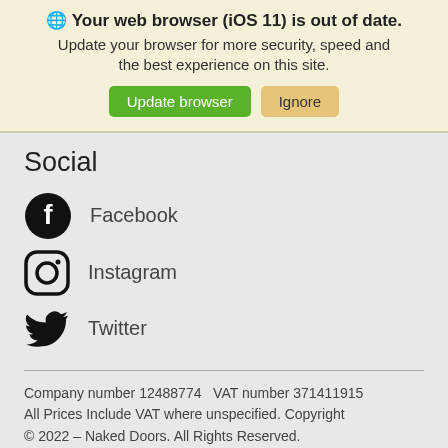🌐 Your web browser (iOS 11) is out of date. Update your browser for more security, speed and the best experience on this site. [Update browser] [Ignore]
Social
Facebook
Instagram
Twitter
Company number 12488774   VAT number 371411915
All Prices Include VAT where unspecified. Copyright © 2022 – Naked Doors. All Rights Reserved.